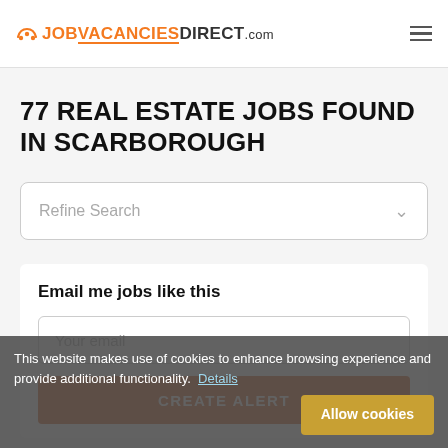JOBVACANCIESDIRECT.com
77 REAL ESTATE JOBS FOUND IN SCARBOROUGH
Refine Search
Email me jobs like this
Your email
CREATE ALERT
This website makes use of cookies to enhance browsing experience and provide additional functionality.  Details   Allow cookies